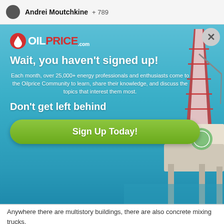Andrei Moutchkine + 789
[Figure (screenshot): OilPrice.com popup overlay on ocean/oil rig background. Contains logo, headline 'Wait, you haven't signed up!', body text about 25,000+ energy professionals, subheadline 'Don't get left behind', and green 'Sign Up Today!' button.]
Anywhere there are multistory buildings, there are also concrete mixing trucks.
Ditto for the apparatus making bales out of hay. It is everywhere. No